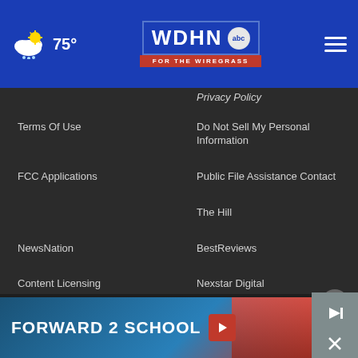WDHN ABC - FOR THE WIREGRASS | 75°
Privacy Policy
Terms Of Use
Do Not Sell My Personal Information
FCC Applications
Public File Assistance Contact
The Hill
NewsNation
BestReviews
Content Licensing
Nexstar Digital
© 1998 - 2022 Nexstar Media Inc. | All Rights Reserved.
[Figure (screenshot): FORWARD 2 SCHOOL advertisement banner at bottom of page]